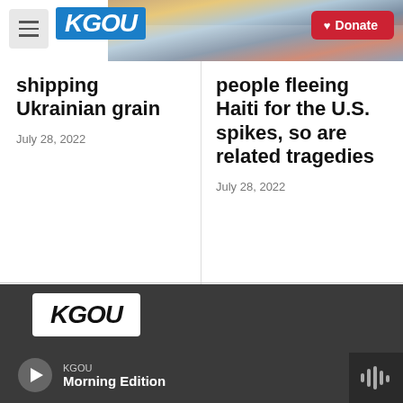KGOU | Donate
shipping Ukrainian grain
July 28, 2022
people fleeing Haiti for the U.S. spikes, so are related tragedies
July 28, 2022
Support nonprofit, public service journalism you trust. Give now. Whatever the news brings next, you'll help KGOU and NPR cover it.
KGOU Morning Edition